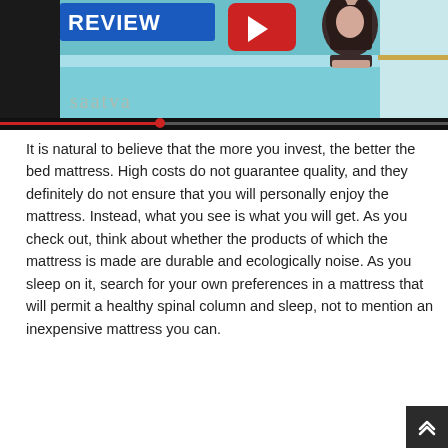[Figure (screenshot): Video thumbnail showing a YouTube review for Saatva mattress. Contains the word REVIEW on a blue banner, a YouTube play button icon, a woman resting her chin on her hands, and the Saatva logo in the lower left.]
It is natural to believe that the more you invest, the better the bed mattress. High costs do not guarantee quality, and they definitely do not ensure that you will personally enjoy the mattress. Instead, what you see is what you will get. As you check out, think about whether the products of which the mattress is made are durable and ecologically noise. As you sleep on it, search for your own preferences in a mattress that will permit a healthy spinal column and sleep, not to mention an inexpensive mattress you can.